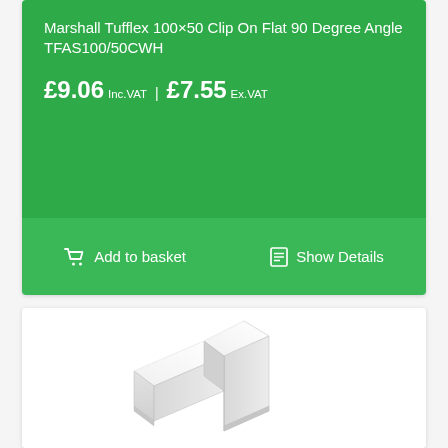Marshall Tufflex 100×50 Clip On Flat 90 Degree Angle TFAS100/50CWH
£9.06 Inc.VAT | £7.55 Ex.VAT
Add to basket
Show Details
[Figure (photo): White plastic flat 90 degree angle clip-on fitting for cable trunking, shown as a 3D product photo on white background]